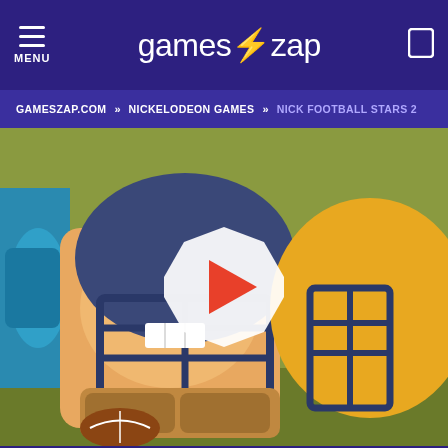MENU  games⚡zap
GAMESZAP.COM » NICKELODEON GAMES » NICK FOOTBALL STARS 2
[Figure (screenshot): Nick Football Stars 2 game thumbnail showing a cartoon football player wearing a blue and yellow helmet with a play button overlay in the center]